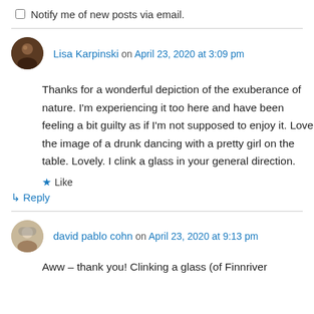Notify me of new posts via email.
Lisa Karpinski on April 23, 2020 at 3:09 pm
Thanks for a wonderful depiction of the exuberance of nature. I'm experiencing it too here and have been feeling a bit guilty as if I'm not supposed to enjoy it. Love the image of a drunk dancing with a pretty girl on the table. Lovely. I clink a glass in your general direction.
Like
Reply
david pablo cohn on April 23, 2020 at 9:13 pm
Aww – thank you! Clinking a glass (of Finnriver